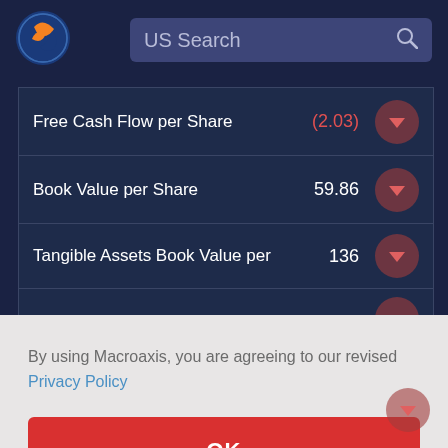[Figure (logo): Macroaxis globe logo with orange and blue colors]
US Search
| Metric | Value |
| --- | --- |
| Free Cash Flow per Share | (2.03) |
| Book Value per Share | 59.86 |
| Tangible Assets Book Value per | 136 |
By using Macroaxis, you are agreeing to our revised Privacy Policy
OK